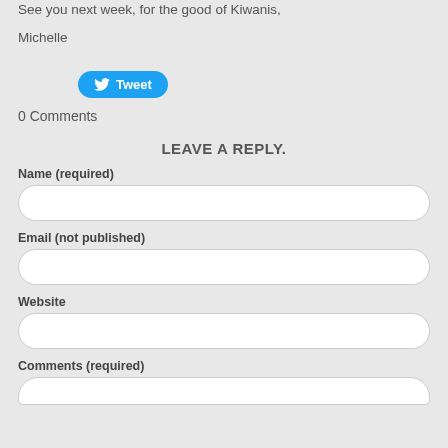See you next week, for the good of Kiwanis,
Michelle
[Figure (other): Twitter Tweet button (blue pill-shaped button with bird icon and 'Tweet' text)]
0 Comments
LEAVE A REPLY.
Name (required)
Email (not published)
Website
Comments (required)